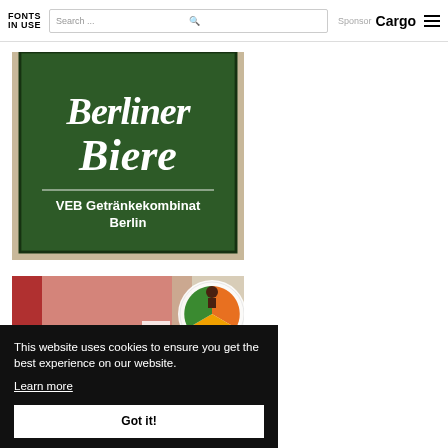FONTS IN USE | Search ... | Sponsor Cargo
[Figure (photo): Photograph of a dark green enamel sign reading 'Berliner Biere' in blackletter/Gothic script with 'VEB Getränkekombinat Berlin' in sans-serif below, mounted on a wall.]
[Figure (photo): Partial photograph of a product package or label with a colorful circular logo/badge visible in the top right corner.]
This website uses cookies to ensure you get the best experience on our website.
Learn more
Got it!